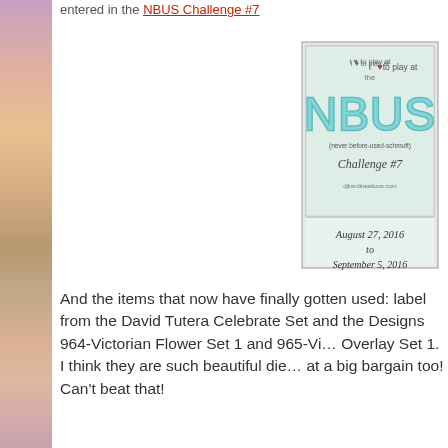entered in the NBUS Challenge #7
[Figure (illustration): NBUS (never-before-used-schmuft) Challenge #7 badge showing dates August 27, 2016 to September 5, 2016, with djkardkreations.com credit]
And the items that now have finally gotten used: label from the David Tutera Celebrate Set and the Designs 964-Victorian Flower Set 1 and 965-Victorian Overlay Set 1. I think they are such beautiful die... at a big bargain too! Can't beat that!